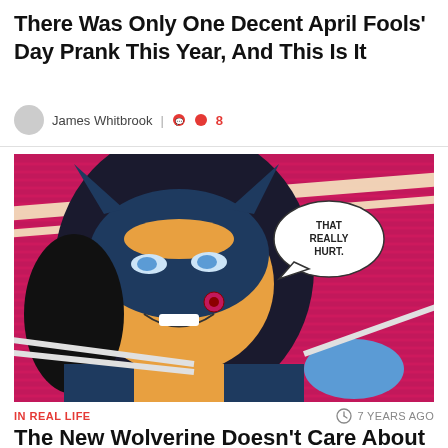There Was Only One Decent April Fools' Day Prank This Year, And This Is It
James Whitbrook | 8
[Figure (illustration): Comic book panel showing Wolverine female character with claws extended, smiling, with a speech bubble reading 'THAT REALLY HURT.' on a pink/magenta striped background.]
IN REAL LIFE
7 YEARS AGO
The New Wolverine Doesn't Care About Her Own